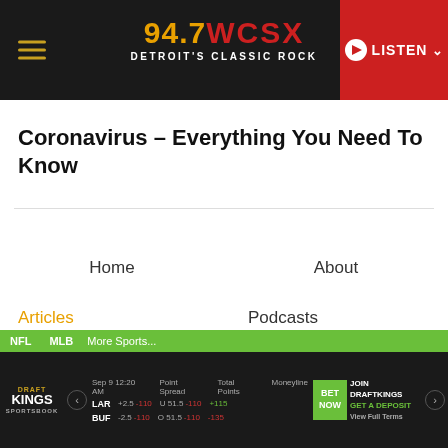94.7 WCSX DETROIT'S CLASSIC ROCK — LISTEN
Coronavirus – Everything You Need To Know
Home
About
NFL  MLB  More Sports... — DraftKings Sportsbook — Sep 9 12:20 AM — LAR +2.5 -110, U 51.5 -110, +115 — BUF -2.5 -110, O 51.5 -110, -135 — BET NOW — JOIN DRAFTKINGS — GET A DEPOSIT — View Full Terms